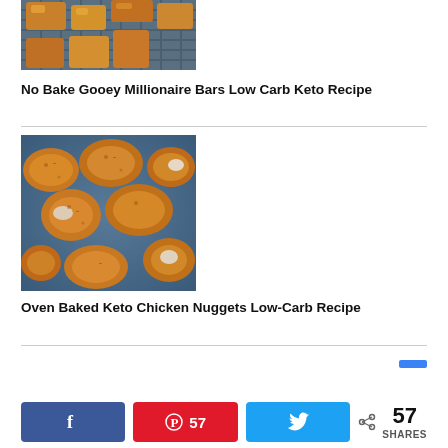[Figure (photo): Top portion of a photo of No Bake Gooey Millionaire Bars on a dark surface, partially cropped]
No Bake Gooey Millionaire Bars Low Carb Keto Recipe
[Figure (photo): Photo of Oven Baked Keto Chicken Nuggets, crispy orange-coated nuggets on a blue tray]
Oven Baked Keto Chicken Nuggets Low-Carb Recipe
57 SHARES — social share bar with Facebook, Pinterest (57), and Twitter buttons